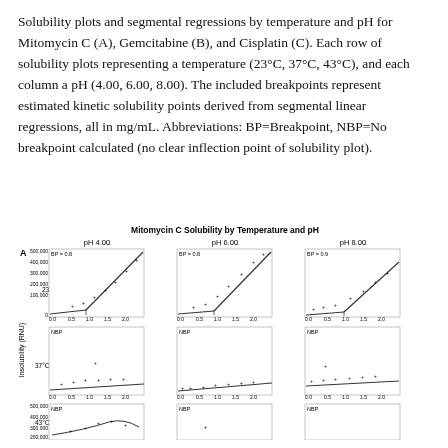Solubility plots and segmental regressions by temperature and pH for Mitomycin C (A), Gemcitabine (B), and Cisplatin (C). Each row of solubility plots representing a temperature (23°C, 37°C, 43°C), and each column a pH (4.00, 6.00, 8.00). The included breakpoints represent estimated kinetic solubility points derived from segmental linear regressions, all in mg/mL. Abbreviations: BP=Breakpoint, NBP=No breakpoint calculated (no clear inflection point of solubility plot).
[Figure (continuous-plot): Grid of 9 solubility plots (3 temperatures × 3 pH values) for Mitomycin C. Rows: 23°C, 37°C, 43°C. Columns: pH 4.00, pH 6.00, pH 8.00. Y-axis: Insolubility (RNU), 0–500,000. X-axis: 0.0–2.0. 23°C row shows BP=0.8 or 0.9 breakpoints with segmental regression lines. 37°C and 43°C rows show NBP (no breakpoint). Partially cut off at bottom.]